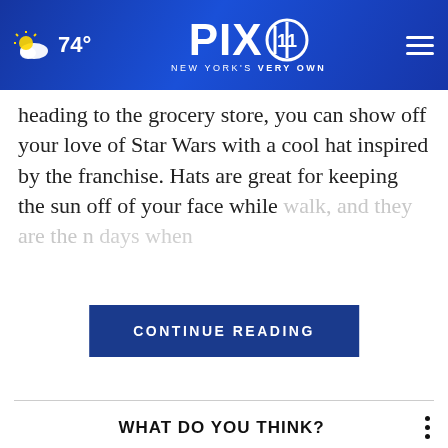PIX 11 NEW YORK'S VERY OWN — 74°
heading to the grocery store, you can show off your love of Star Wars with a cool hat inspired by the franchise. Hats are great for keeping the sun off of your face while [CONTINUE READING] walk, and they are the n[...] days when
WHAT DO YOU THINK?
How often do you play the lottery?
Very often
Somewhat often